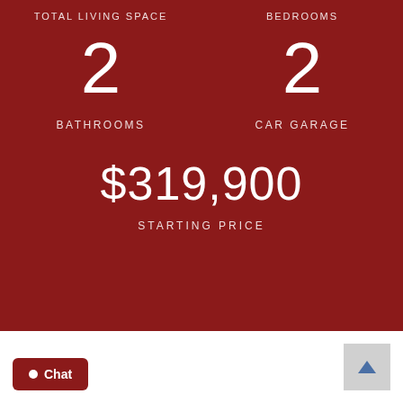TOTAL LIVING SPACE
BEDROOMS
2
2
BATHROOMS
CAR GARAGE
$319,900
STARTING PRICE
Chat
↑